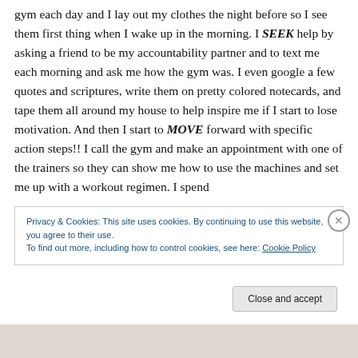gym each day and I lay out my clothes the night before so I see them first thing when I wake up in the morning. I SEEK help by asking a friend to be my accountability partner and to text me each morning and ask me how the gym was. I even google a few quotes and scriptures, write them on pretty colored notecards, and tape them all around my house to help inspire me if I start to lose motivation. And then I start to MOVE forward with specific action steps!! I call the gym and make an appointment with one of the trainers so they can show me how to use the machines and set me up with a workout regimen. I spend
Privacy & Cookies: This site uses cookies. By continuing to use this website, you agree to their use.
To find out more, including how to control cookies, see here: Cookie Policy
Close and accept